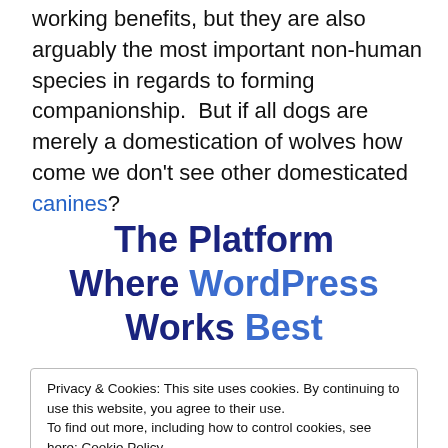working benefits, but they are also arguably the most important non-human species in regards to forming companionship.  But if all dogs are merely a domestication of wolves how come we don't see other domesticated canines?
The Platform Where WordPress Works Best
Privacy & Cookies: This site uses cookies. By continuing to use this website, you agree to their use.
To find out more, including how to control cookies, see here: Cookie Policy
Close and accept